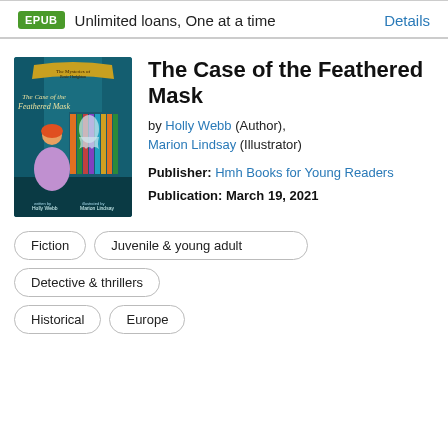EPUB  Unlimited loans, One at a time  Details
[Figure (illustration): Book cover of 'The Case of the Feathered Mask' showing a girl in a purple dress with a ghost in a teal-lit room, written by Holly Webb and illustrated by Marion Lindsay]
The Case of the Feathered Mask
by Holly Webb (Author), Marion Lindsay (Illustrator)
Publisher: Hmh Books for Young Readers
Publication: March 19, 2021
Fiction
Juvenile & young adult
Detective & thrillers
Historical
Europe